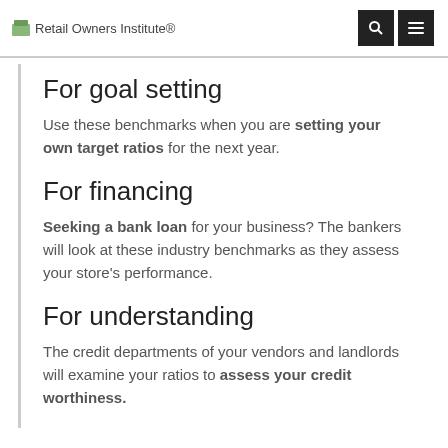Retail Owners Institute®
For goal setting
Use these benchmarks when you are setting your own target ratios for the next year.
For financing
Seeking a bank loan for your business? The bankers will look at these industry benchmarks as they assess your store's performance.
For understanding
The credit departments of your vendors and landlords will examine your ratios to assess your credit worthiness.